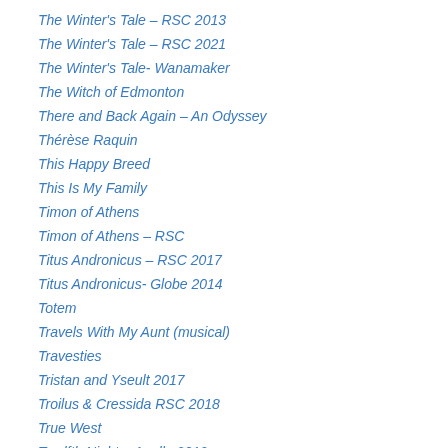The Winter's Tale – RSC 2013
The Winter's Tale – RSC 2021
The Winter's Tale- Wanamaker
The Witch of Edmonton
There and Back Again – An Odyssey
Thérèse Raquin
This Happy Breed
This Is My Family
Timon of Athens
Timon of Athens – RSC
Titus Andronicus – RSC 2017
Titus Andronicus- Globe 2014
Totem
Travels With My Aunt (musical)
Travesties
Tristan and Yseult 2017
Troilus & Cressida RSC 2018
True West
Twelfth Night – Apollo 2012
Twelfth Night – Globe 2017